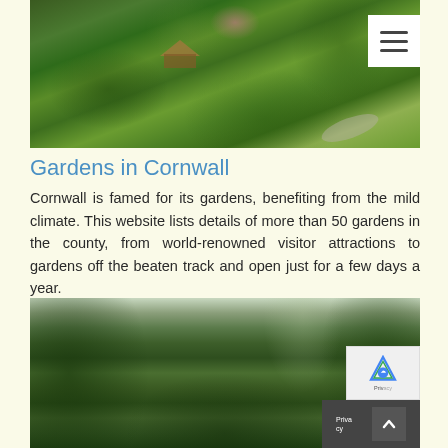[Figure (photo): Aerial or elevated view of lush green gardens in Cornwall with a thatched hut visible among dense green foliage, trees, and winding paths. A hamburger menu icon is overlaid in the top right corner.]
Gardens in Cornwall
Cornwall is famed for its gardens, benefiting from the mild climate. This website lists details of more than 50 gardens in the county, from world-renowned visitor attractions to gardens off the beaten track and open just for a few days a year.
[Figure (photo): Ground-level view of a dense subtropical garden with large palm fronds, tree ferns, and lush green vegetation in Cornwall. A reCAPTCHA badge and privacy/scroll-to-top bar are overlaid at the bottom right.]